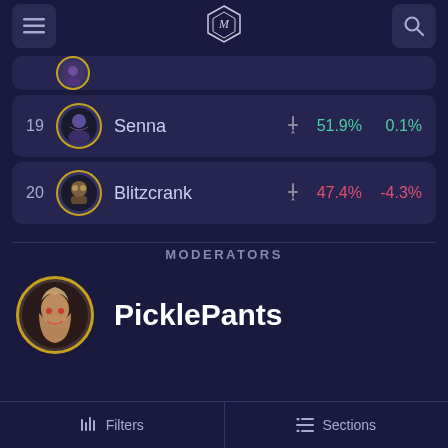Navigation header with menu, logo, and search
[partial row] champion icon
19 Senna 51.9% 0.1%
20 Blitzcrank 47.4% -4.3%
MODERATORS
PicklePants
Filters   Sections